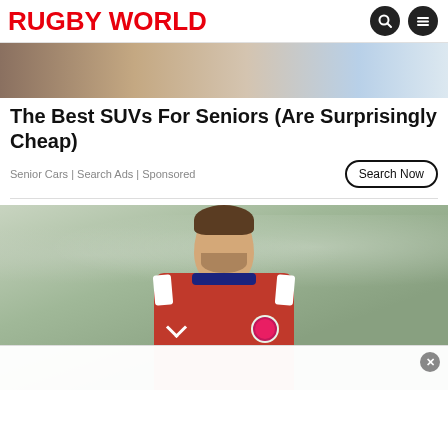RUGBY WORLD
[Figure (photo): Partial top banner image, appears to show a car interior or advertisement strip]
The Best SUVs For Seniors (Are Surprisingly Cheap)
Senior Cars | Search Ads | Sponsored
[Figure (photo): Rugby player wearing red England rugby jersey with rose badge and Umbro logo, smiling, blurred stadium crowd background]
[Figure (other): White overlay popup at bottom of page with close X button]